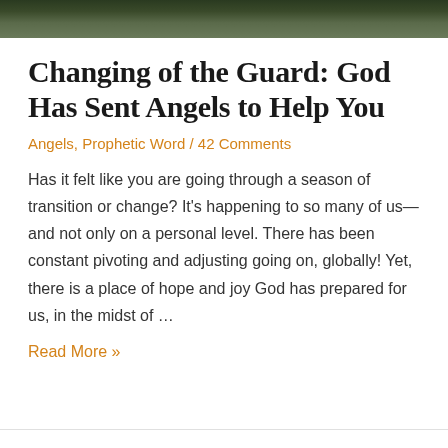[Figure (photo): Dark photo strip at top showing a walkway/bridge surrounded by trees]
Changing of the Guard: God Has Sent Angels to Help You
Angels, Prophetic Word / 42 Comments
Has it felt like you are going through a season of transition or change? It's happening to so many of us—and not only on a personal level. There has been constant pivoting and adjusting going on, globally! Yet, there is a place of hope and joy God has prepared for us, in the midst of …
Read More »